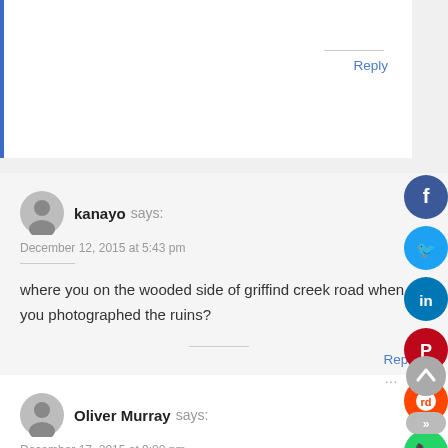Reply
kanayo says:
December 12, 2015 at 5:43 pm
where you on the wooded side of griffind creek road when you photographed the ruins?
Reply
Oliver Murray says:
December 17, 2015 at 9:00 pm
I was born approximately one mile north of Kingville and